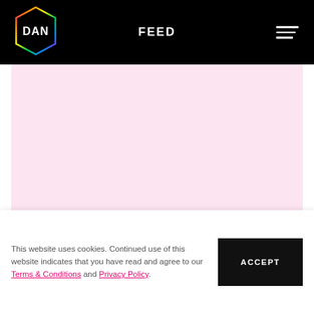FEED
[Figure (logo): DAN logo — hexagonal outline with rainbow gradient, white text DAN inside, on black background]
[Figure (illustration): Light pink/rose banner image area]
WORKS | Case Studies
NGS Super And Luminary Have Focused On The Platform's Online Services
This website uses cookies. Continued use of this website indicates that you have read and agree to our Terms & Conditions and Privacy Policy.